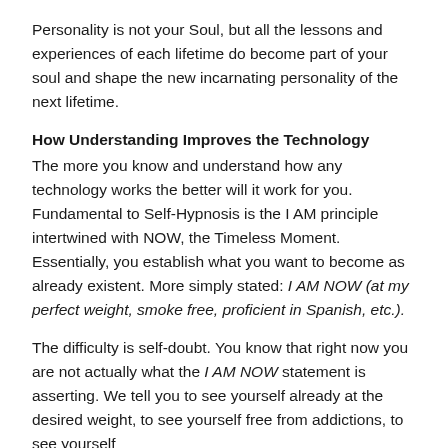Personality is not your Soul, but all the lessons and experiences of each lifetime do become part of your soul and shape the new incarnating personality of the next lifetime.
How Understanding Improves the Technology
The more you know and understand how any technology works the better will it work for you. Fundamental to Self-Hypnosis is the I AM principle intertwined with NOW, the Timeless Moment. Essentially, you establish what you want to become as already existent. More simply stated: I AM NOW (at my perfect weight, smoke free, proficient in Spanish, etc.).
The difficulty is self-doubt. You know that right now you are not actually what the I AM NOW statement is asserting. We tell you to see yourself already at the desired weight, to see yourself free from addictions, to see yourself…